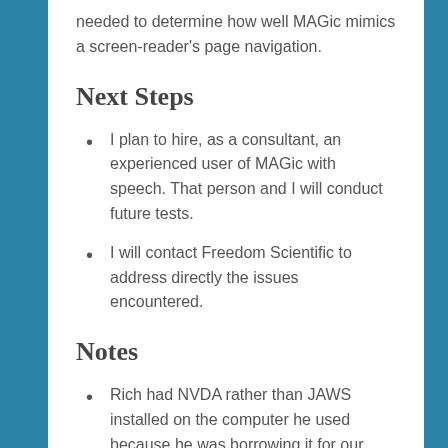needed to determine how well MAGic mimics a screen-reader's page navigation.
Next Steps
I plan to hire, as a consultant, an experienced user of MAGic with speech.  That person and I will conduct future tests.
I will contact Freedom Scientific to address directly the issues encountered.
Notes
Rich had NVDA rather than JAWS installed on the computer he used because he was borrowing it for our testing.
The issue of JAWS cost I noted in my previous.